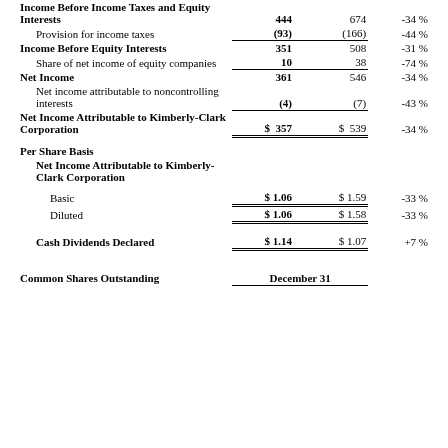|  | Current Period | Prior Period | Change |
| --- | --- | --- | --- |
| Income Before Income Taxes and Equity Interests | 444 | 674 | -34% |
| Provision for income taxes | (93) | (166) | -44% |
| Income Before Equity Interests | 351 | 508 | -31% |
| Share of net income of equity companies | 10 | 38 | -74% |
| Net Income | 361 | 546 | -34% |
| Net income attributable to noncontrolling interests | (4) | (7) | -43% |
| Net Income Attributable to Kimberly-Clark Corporation | $ 357 | $ 539 | -34% |
| Per Share Basis |  |  |  |
| Net Income Attributable to Kimberly-Clark Corporation |  |  |  |
| Basic | $ 1.06 | $ 1.59 | -33% |
| Diluted | $ 1.06 | $ 1.58 | -33% |
| Cash Dividends Declared | $ 1.14 | $ 1.07 | +7% |
| Common Shares Outstanding | December 31 |  |  |